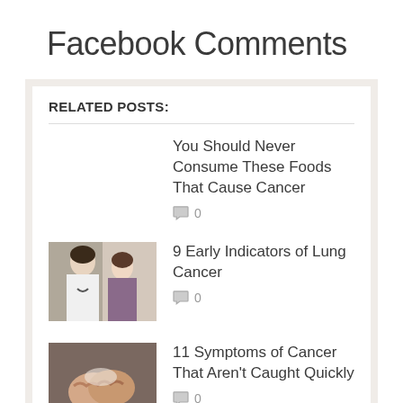Facebook Comments
RELATED POSTS:
You Should Never Consume These Foods That Cause Cancer
0
[Figure (photo): Doctor or medical professional talking with patient]
9 Early Indicators of Lung Cancer
0
[Figure (photo): Person with hands clasped, possibly in distress]
11 Symptoms of Cancer That Aren't Caught Quickly
0